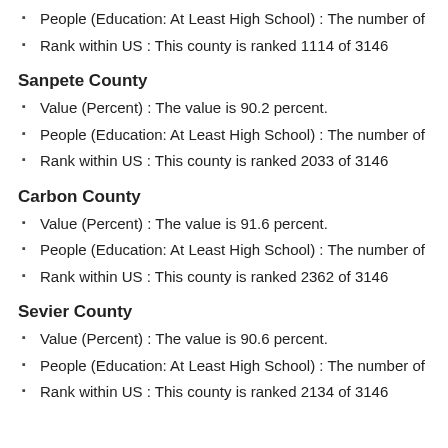People (Education: At Least High School) : The number of
Rank within US : This county is ranked 1114 of 3146
Sanpete County
Value (Percent) : The value is 90.2 percent.
People (Education: At Least High School) : The number of
Rank within US : This county is ranked 2033 of 3146
Carbon County
Value (Percent) : The value is 91.6 percent.
People (Education: At Least High School) : The number of
Rank within US : This county is ranked 2362 of 3146
Sevier County
Value (Percent) : The value is 90.6 percent.
People (Education: At Least High School) : The number of
Rank within US : This county is ranked 2134 of 3146